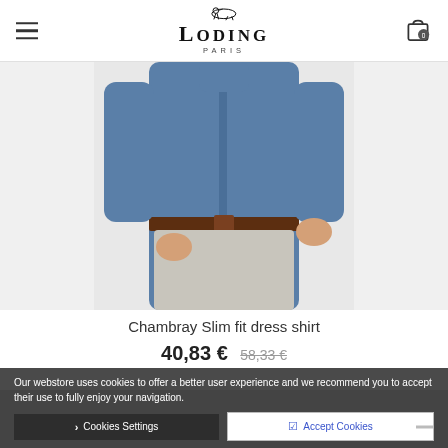Loding Paris — navigation header with hamburger menu and cart icon
[Figure (photo): Product photo of a man wearing a blue chambray dress shirt tucked into light grey trousers with a dark brown leather belt, cropped at torso level]
Chambray Slim fit dress shirt
40,83 € 58,33 €
Our webstore uses cookies to offer a better user experience and we recommend you to accept their use to fully enjoy your navigation.